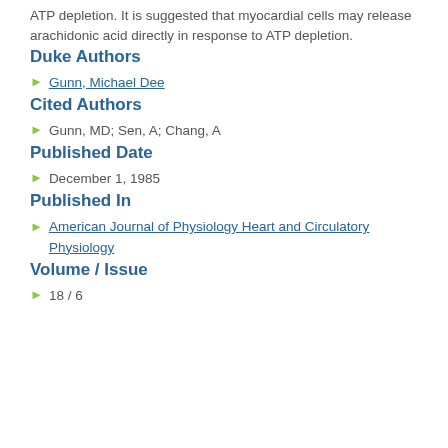ATP depletion. It is suggested that myocardial cells may release arachidonic acid directly in response to ATP depletion.
Duke Authors
Gunn, Michael Dee
Cited Authors
Gunn, MD; Sen, A; Chang, A
Published Date
December 1, 1985
Published In
American Journal of Physiology Heart and Circulatory Physiology
Volume / Issue
18 / 6